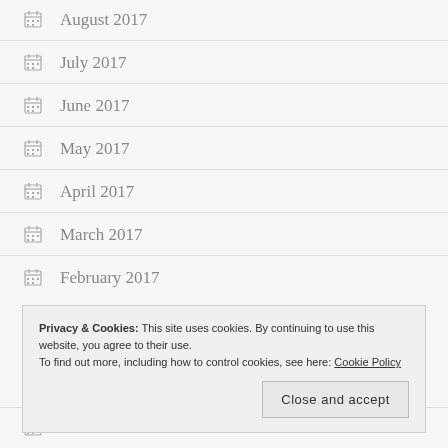August 2017
July 2017
June 2017
May 2017
April 2017
March 2017
February 2017
Privacy & Cookies: This site uses cookies. By continuing to use this website, you agree to their use. To find out more, including how to control cookies, see here: Cookie Policy
November 2016